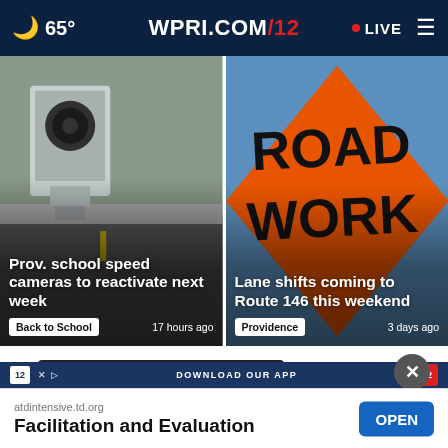🌙 65° WPRI.COM/12 · LIVE ≡
[Figure (photo): Photo of a speed camera device on a street, with headline overlay: Prov. school speed cameras to reactivate next week. Tag: Back to School. Time: 17 hours ago.]
[Figure (photo): Photo of an orange road work sign reading ROAD WORK against blue sky, with headline overlay: Lane shifts coming to Route 146 this weekend. Tag: Providence. Time: 3 days ago.]
View All Providence ▸
×
atdintensive.td.org
Facilitation and Evaluation
OPEN